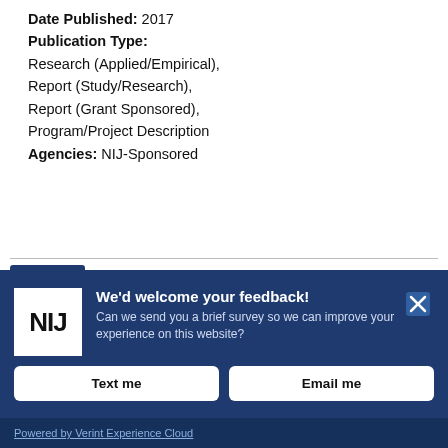Date Published: 2017
Publication Type:
Research (Applied/Empirical),
Report (Study/Research),
Report (Grant Sponsored),
Program/Project Description
Agencies: NIJ-Sponsored
[Figure (screenshot): NIJ feedback banner overlay with logo, survey invitation text, Text me and Email me buttons, and Powered by Verint Experience Cloud footer]